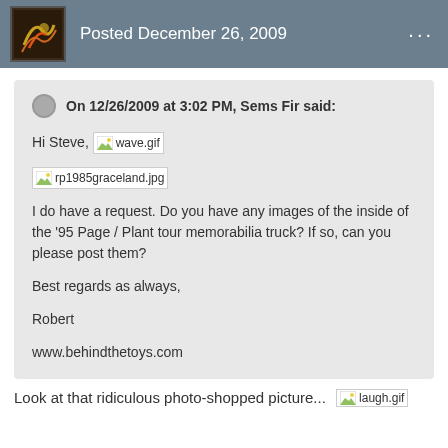Posted December 26, 2009
On 12/26/2009 at 3:02 PM, Sems Fir said:

Hi Steve, [wave.gif]

[rp1985graceland.jpg]

I do have a request. Do you have any images of the inside of the '95 Page / Plant tour memorabilia truck? If so, can you please post them?

Best regards as always,

Robert

www.behindthetoys.com
Look at that ridiculous photo-shopped picture... [laugh.gif]